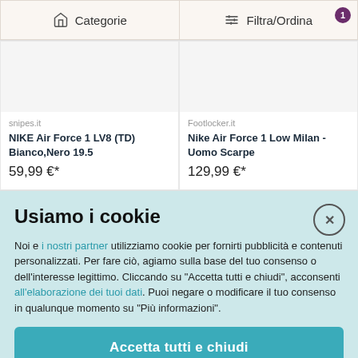[Figure (screenshot): Top navigation bar with two buttons: 'Categorie' (categories icon) and 'Filtra/Ordina' (filter icon) with a badge showing '1']
[Figure (screenshot): Product card from snipes.it: NIKE Air Force 1 LV8 (TD) Bianco,Nero 19.5, priced at 59,99 €*]
[Figure (screenshot): Product card from Footlocker.it: Nike Air Force 1 Low Milan - Uomo Scarpe, priced at 129,99 €*]
Usiamo i cookie
Noi e i nostri partner utilizziamo cookie per fornirti pubblicità e contenuti personalizzati. Per fare ciò, agiamo sulla base del tuo consenso o dell'interesse legittimo. Cliccando su "Accetta tutti e chiudi", acconsenti all'elaborazione dei tuoi dati. Puoi negare o modificare il tuo consenso in qualunque momento su "Più informazioni".
Accetta tutti e chiudi
Più informazioni